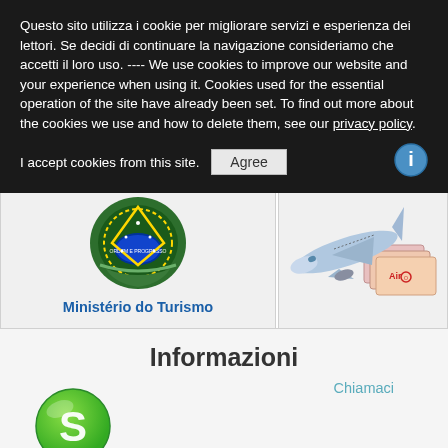Questo sito utilizza i cookie per migliorare servizi e esperienza dei lettori. Se decidi di continuare la navigazione consideriamo che accetti il loro uso. ---- We use cookies to improve our website and your experience when using it. Cookies used for the essential operation of the site have already been set. To find out more about the cookies we use and how to delete them, see our privacy policy.
I accept cookies from this site.
[Figure (logo): Brazilian government Ministério do Turismo coat of arms logo]
Ministério do Turismo
Società registrata Cadastur
[Figure (illustration): Airplane with boarding passes and Air ticket illustration]
Compra il tuo biglietto
Informazioni
Chiamaci
[Figure (logo): Skype green logo icon]